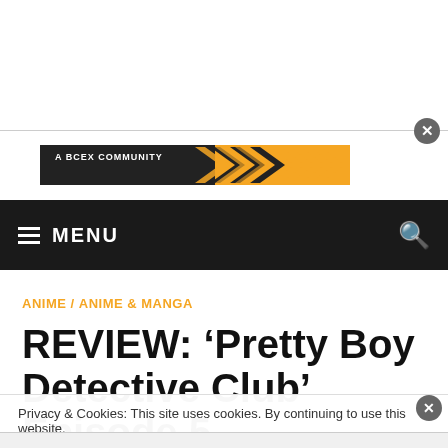[Figure (logo): Website logo with orange chevrons/arrows and text 'A BCEX COMMUNITY' on a dark banner]
MENU
ANIME / ANIME & MANGA
REVIEW: ‘Pretty Boy Detective Club’ Episode 5 –
Privacy & Cookies: This site uses cookies. By continuing to use this website,